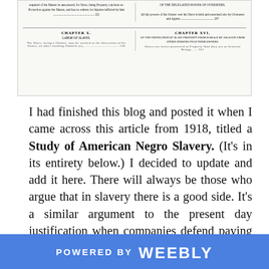[Figure (other): Scanned document page showing table of contents entries for chapters about slavery, including Chapter X (Labor of Slaves) and Chapter XVI (Of the Protection of Slave Property from Damage by Assaults from Other Persons than Their Owners)]
I had finished this blog and posted it when I came across this article from 1918, titled a Study of American Negro Slavery. (It's in its entirety below.) I decided to update and add it here. There will always be those who argue that in slavery there is a good side. It's a similar argument to the present day justification when companies defend paying slave labor wages around the world to import goods into America. "I'll pay them a dime where they might otherwise only get a nickel." In other words, in taking a little less advantage of them, makes it right.
POWERED BY weebly